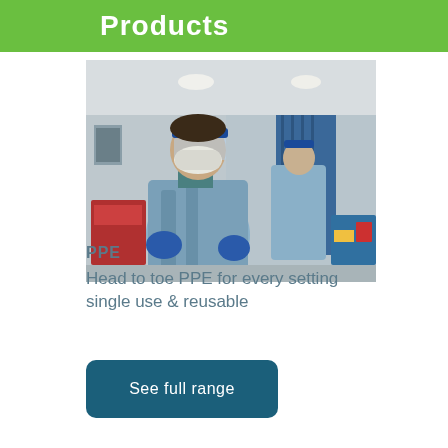Products
[Figure (photo): Two healthcare workers in full PPE (face shields, masks, blue protective gowns and gloves) in a hospital corridor. One faces the camera, one faces away.]
PPE
Head to toe PPE for every setting single use & reusable
See full range